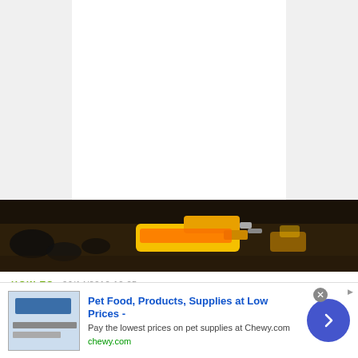[Figure (photo): White content area above article, with gray side margins]
[Figure (photo): Dark photographic image strip showing colorful toy items including what appears to be a yellow Nerf gun and Lego pieces on a dark surface]
HOW TO   06/14/2010 10:05 pm
Make Paper Yoshi out of Lego blocks
Yoshi has evolved from a simple Mario sidekick into one of
[Figure (screenshot): Advertisement for Chewy.com - Pet Food, Products, Supplies at Low Prices. Pay the lowest prices on pet supplies at Chewy.com. chewy.com. Contains ad image, close button, and arrow navigation button.]